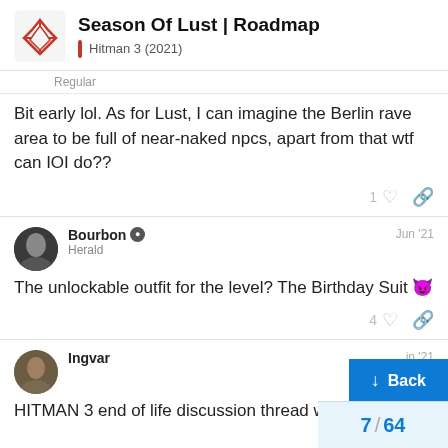Season Of Lust | Roadmap — Hitman 3 (2021)
Regular
Bit early lol. As for Lust, I can imagine the Berlin rave area to be full of near-naked npcs, apart from that wtf can IOI do??
1 [like] [link]
Bourbon — Herald — Jun '21
The unlockable outfit for the level? The Birthday Suit 😈
4 [like] [link]
Ingvar — Jun '21
HITMAN 3 end of life discussion thread wh
7 / 64